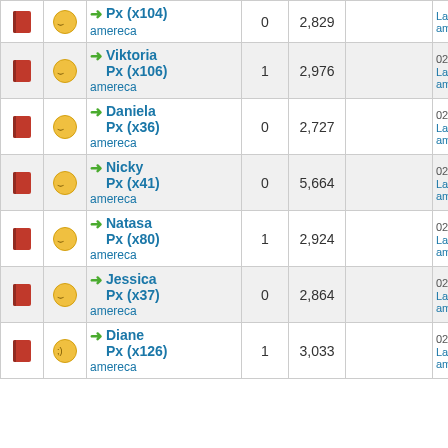|  |  | Title | Replies | Views |  | Last Post |
| --- | --- | --- | --- | --- | --- | --- |
| [book] | [smile] | ➜ Px (x104)
amereca | 0 | 2,829 |  | Last Post: amereca |
| [book] | [smile] | ➜ Viktoria Px (x106)
amereca | 1 | 2,976 |  | 02-22-2015, 07:39 PM
Last Post: amereca |
| [book] | [smile] | ➜ Daniela Px (x36)
amereca | 0 | 2,727 |  | 02-22-2015, 07:36 PM
Last Post: amereca |
| [book] | [smile] | ➜ Nicky Px (x41)
amereca | 0 | 5,664 |  | 02-15-2015, 02:31 PM
Last Post: amereca |
| [book] | [smile] | ➜ Natasa Px (x80)
amereca | 1 | 2,924 |  | 02-15-2015, 02:28 PM
Last Post: amereca |
| [book] | [smile] | ➜ Jessica Px (x37)
amereca | 0 | 2,864 |  | 02-15-2015, 02:22 PM
Last Post: amereca |
| [book] | [smile-wink] | ➜ Diane Px (x126)
amereca | 1 | 3,033 |  | 02-15-2015, 02:20 PM
Last Post: amereca |